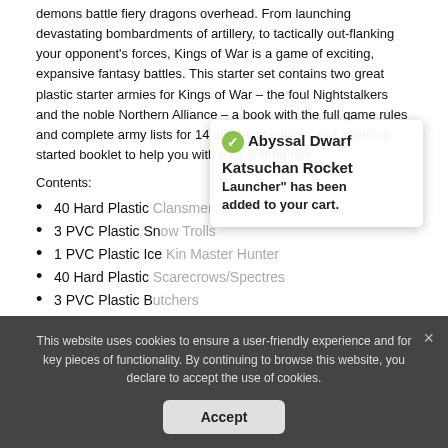demons battle fiery dragons overhead. From launching devastating bombardments of artillery, to tactically out-flanking your opponent's forces, Kings of War is a game of exciting, expansive fantasy battles. This starter set contains two great plastic starter armies for Kings of War – the foul Nightstalkers and the noble Northern Alliance – a book with the full game rules and complete army lists for 14 different factions, and a getting started booklet to help you with your first games.
Contents:
40 Hard Plastic Clansmen/Pack Hunters
3 PVC Plastic Snow Trolls
1 PVC Plastic Ice Kin Master Hunter
40 Hard Plastic Scarecrows/Spectres
3 PVC Plastic Butchers
1 PVC Plastic Horror
Square Bases
[Figure (infographic): Tooltip popup showing green checkmark icon with text 'Abyssal Dwarf Katsuchan Rocket Launcher" has been added to your cart.']
This website uses cookies to ensure a user-friendly experience and for key pieces of functionality. By continuing to browse this website, you declare to accept the use of cookies.